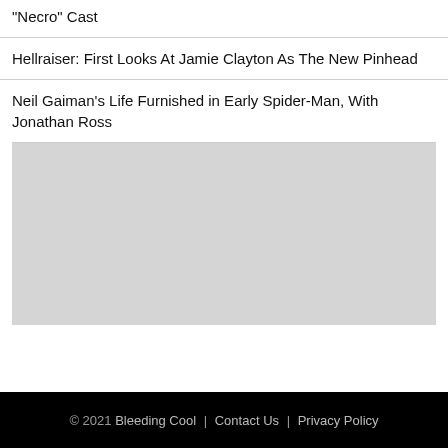"Necro" Cast
Hellraiser: First Looks At Jamie Clayton As The New Pinhead
Neil Gaiman's Life Furnished in Early Spider-Man, With Jonathan Ross
[Figure (photo): Gray placeholder image block]
© 2021 Bleeding Cool | Contact Us | Privacy Policy